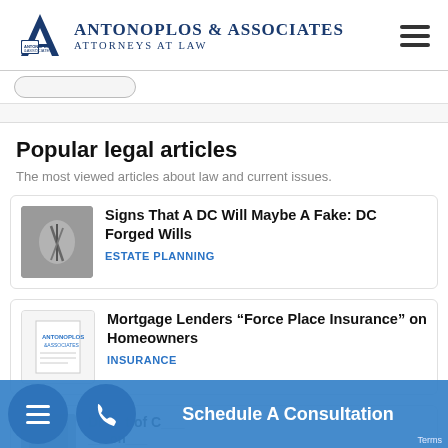Antonoplos & Associates Attorneys at Law
Popular legal articles
The most viewed articles about law and current issues.
Signs That A DC Will Maybe A Fake: DC Forged Wills — ESTATE PLANNING
Mortgage Lenders “Force Place Insurance” on Homeowners — INSURANCE
Di___t of C___ on___ — ___ER P___
Schedule A Consultation